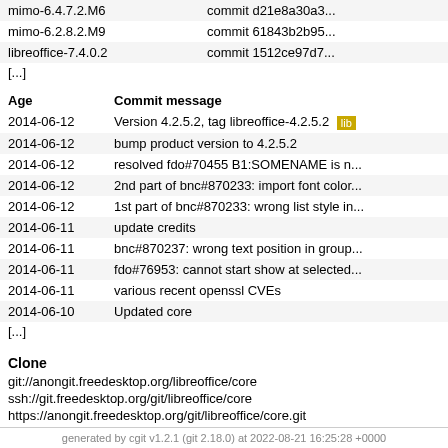| mimo-6.4.7.2.M6 | commit d21e8a30a3... |
| mimo-6.2.8.2.M9 | commit 61843b2b95... |
| libreoffice-7.4.0.2 | commit 1512ce97d7... |
[...]
| Age | Commit message |
| --- | --- |
| 2014-06-12 | Version 4.2.5.2, tag libreoffice-4.2.5.2 [lib...] |
| 2014-06-12 | bump product version to 4.2.5.2 |
| 2014-06-12 | resolved fdo#70455 B1:SOMENAME is n... |
| 2014-06-12 | 2nd part of bnc#870233: import font color... |
| 2014-06-12 | 1st part of bnc#870233: wrong list style in... |
| 2014-06-11 | update credits |
| 2014-06-11 | bnc#870237: wrong text position in group... |
| 2014-06-11 | fdo#76953: cannot start show at selected... |
| 2014-06-11 | various recent openssl CVEs |
| 2014-06-10 | Updated core |
[...]
Clone
git://anongit.freedesktop.org/libreoffice/core
ssh://git.freedesktop.org/git/libreoffice/core
https://anongit.freedesktop.org/git/libreoffice/core.git
generated by cgit v1.2.1 (git 2.18.0) at 2022-08-21 16:25:28 +0000